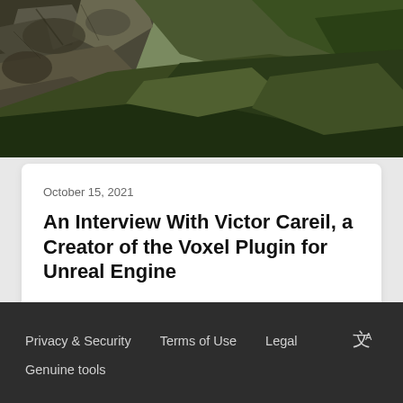[Figure (photo): Landscape photo showing rocky terrain with moss-covered stones and green grass/vegetation in the background]
October 15, 2021
An Interview With Victor Careil, a Creator of the Voxel Plugin for Unreal Engine
In this interview, we talk to Victor Careil about the Voxel Plugin and Victor's experience with ReSharper C++ for Unreal Engine development. …
[Figure (photo): Circular avatar photo of Anastasia Kazakova]
Anastasia Kazakova
Privacy & Security   Terms of Use   Legal   Genuine tools